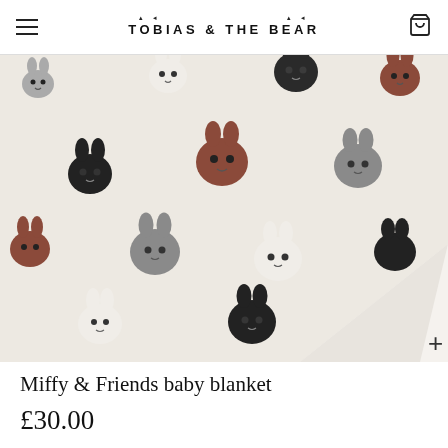TOBIAS & THE BEAR
[Figure (photo): A baby blanket with a cream/off-white background featuring a repeating pattern of Miffy bunny heads in multiple colors: black, brown/rust, gray, and white. The blanket is folded at the bottom-right corner showing the plain cream reverse side.]
Miffy & Friends baby blanket
£30.00